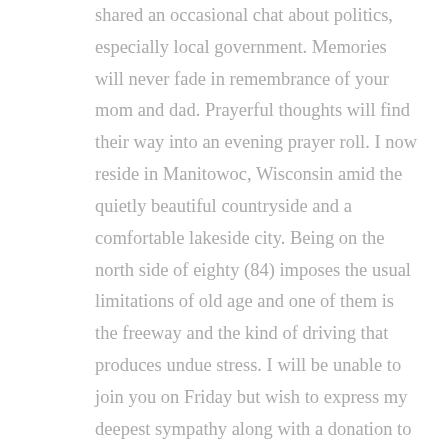shared an occasional chat about politics, especially local government. Memories will never fade in remembrance of your mom and dad. Prayerful thoughts will find their way into an evening prayer roll. I now reside in Manitowoc, Wisconsin amid the quietly beautiful countryside and a comfortable lakeside city. Being on the north side of eighty (84) imposes the usual limitations of old age and one of them is the freeway and the kind of driving that produces undue stress. I will be unable to join you on Friday but wish to express my deepest sympathy along with a donation to